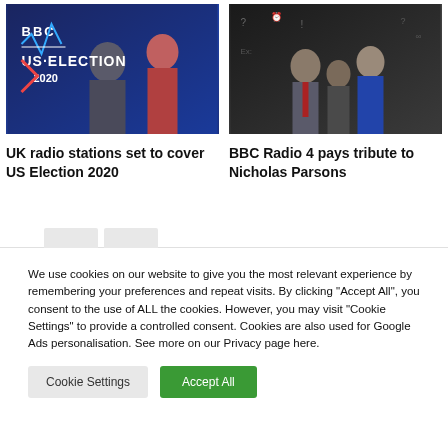[Figure (photo): BBC US Election 2020 promotional image with two presenters in front of blue BBC branding background]
UK radio stations set to cover US Election 2020
[Figure (photo): BBC Radio 4 promotional photo showing Nicholas Parsons and other performers in front of a chalkboard with question marks and quiz symbols]
BBC Radio 4 pays tribute to Nicholas Parsons
We use cookies on our website to give you the most relevant experience by remembering your preferences and repeat visits. By clicking “Accept All”, you consent to the use of ALL the cookies. However, you may visit “Cookie Settings” to provide a controlled consent. Cookies are also used for Google Ads personalisation. See more on our Privacy page here.